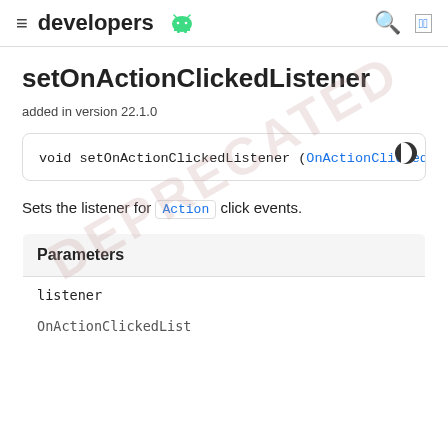≡  developers 🤖  🔍  🌐
setOnActionClickedListener
added in version 22.1.0
void setOnActionClickedListener (OnActionClickedList
Sets the listener for Action click events.
| Parameters |
| --- |
| listener |
| OnActionClickedList |